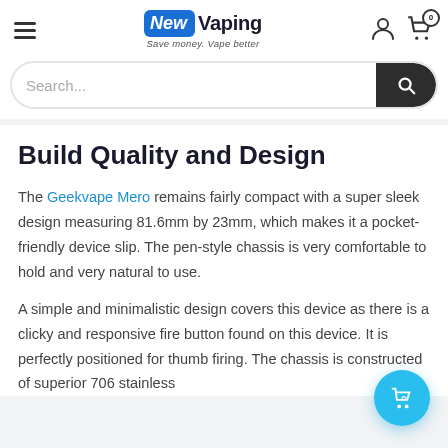New Vaping — Save money. Vape better.
Search...
Build Quality and Design
The Geekvape Mero remains fairly compact with a super sleek design measuring 81.6mm by 23mm, which makes it a pocket-friendly device slip. The pen-style chassis is very comfortable to hold and very natural to use.
A simple and minimalistic design covers this device as there is a clicky and responsive fire button found on this device. It is perfectly positioned for thumb firing. The chassis is constructed of superior 706 stainless